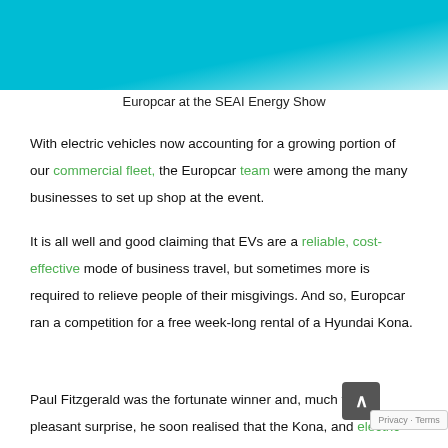[Figure (photo): Photo of Europcar display at the SEAI Energy Show, showing an electric vehicle on a teal/cyan background with white display elements.]
Europcar at the SEAI Energy Show
With electric vehicles now accounting for a growing portion of our commercial fleet, the Europcar team were among the many businesses to set up shop at the event.
It is all well and good claiming that EVs are a reliable, cost-effective mode of business travel, but sometimes more is required to relieve people of their misgivings. And so, Europcar ran a competition for a free week-long rental of a Hyundai Kona.
Paul Fitzgerald was the fortunate winner and, much to his pleasant surprise, he soon realised that the Kona, and electric